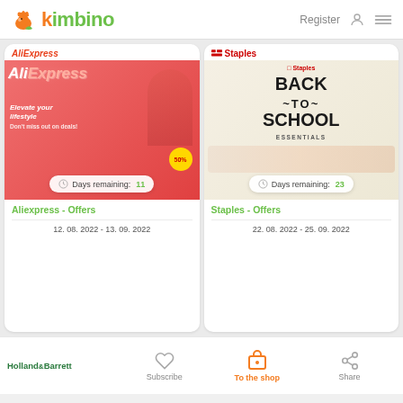kimbino — Register
[Figure (screenshot): AliExpress promotional banner: pink background, AliExpress logo, woman model, 'Elevate your lifestyle Don't miss out on deals!' text, 50% badge]
Days remaining: 11
Aliexpress - Offers
12. 08. 2022 - 13. 09. 2022
[Figure (screenshot): Staples Back to School Essentials promotional banner with school supplies]
Days remaining: 23
Staples - Offers
22. 08. 2022 - 25. 09. 2022
Holland & Barrett — Subscribe — To the shop — Share